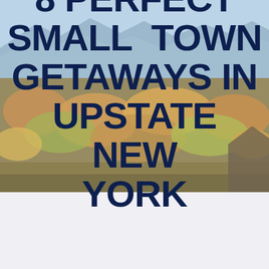[Figure (photo): Aerial landscape photograph of Upstate New York showing mountains, lakes, and autumn foliage with blue sky and clouds. The image is overlaid with large bold dark navy text.]
8 PERFECT SMALL TOWN GETAWAYS IN UPSTATE NEW YORK